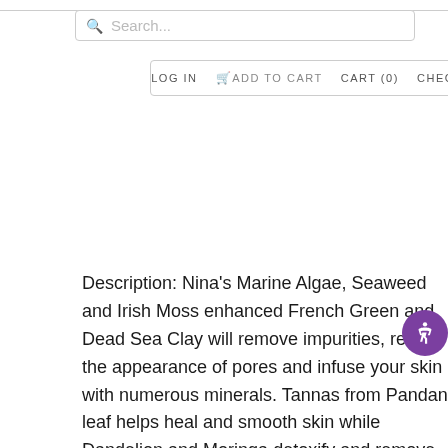Search... | LOG IN | ADD TO CART | CART (0) | CHECKOUT
Description: Nina's Marine Algae, Seaweed and Irish Moss enhanced French Green and Dead Sea Clay will remove impurities, reduce the appearance of pores and infuse your skin with numerous minerals. Tannas from Pandan leaf helps heal and smooth skin while Dandelion and Moringa detoxify and remove impurities. Use 2-3 times per week